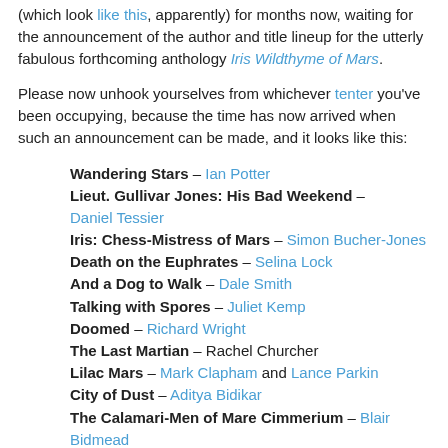...imagine you've all been on tenterhooks (which look like this, apparently) for months now, waiting for the announcement of the author and title lineup for the utterly fabulous forthcoming anthology Iris Wildthyme of Mars.
Please now unhook yourselves from whichever tenter you've been occupying, because the time has now arrived when such an announcement can be made, and it looks like this:
Wandering Stars – Ian Potter
Lieut. Gullivar Jones: His Bad Weekend – Daniel Tessier
Iris: Chess-Mistress of Mars – Simon Bucher-Jones
Death on the Euphrates – Selina Lock
And a Dog to Walk – Dale Smith
Talking with Spores – Juliet Kemp
Doomed – Richard Wright
The Last Martian – Rachel Churcher
Lilac Mars – Mark Clapham and Lance Parkin
City of Dust – Aditya Bidikar
The Calamari-Men of Mare Cimmerium – Blair Bidmead